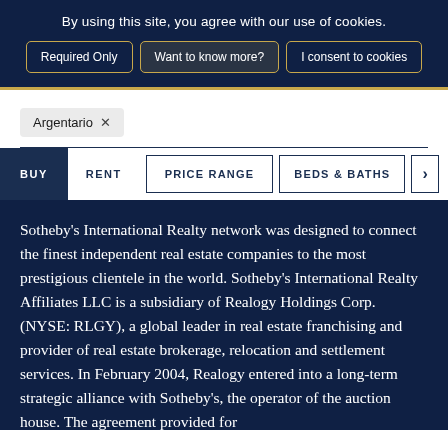By using this site, you agree with our use of cookies.
Required Only | Want to know more? | I consent to cookies
Argentario ×
BUY   RENT   PRICE RANGE   BEDS & BATHS   >
Sotheby's International Realty network was designed to connect the finest independent real estate companies to the most prestigious clientele in the world. Sotheby's International Realty Affiliates LLC is a subsidiary of Realogy Holdings Corp. (NYSE: RLGY), a global leader in real estate franchising and provider of real estate brokerage, relocation and settlement services. In February 2004, Realogy entered into a long-term strategic alliance with Sotheby's, the operator of the auction house. The agreement provided for